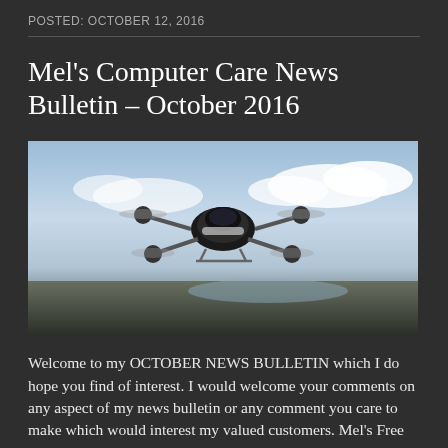POSTED: OCTOBER 12, 2016
Mel's Computer Care News Bulletin – October 2016
[Figure (photo): A drone (multi-rotor unmanned aerial vehicle) in flight against a sky background with a landscape below]
Welcome to my OCTOBER NEWS BULLETIN which I do hope you find of interest. I would welcome your comments on any aspect of my news bulletin or any comment you care to make which would interest my valued customers. Mel's Free Top Tips: Secret Window's tips and tricks to help you save time. I will be [...]